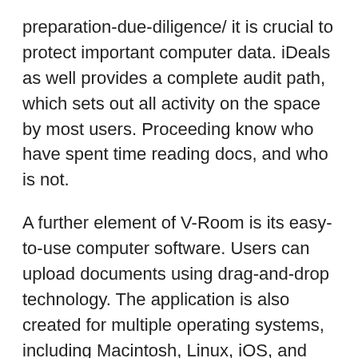preparation-due-diligence/ it is crucial to protect important computer data. iDeals as well provides a complete audit path, which sets out all activity on the space by most users. Proceeding know who have spent time reading docs, and who is not.
A further element of V-Room is its easy-to-use computer software. Users can upload documents using drag-and-drop technology. The application is also created for multiple operating systems, including Macintosh, Linux, iOS, and Android. The software program also runs smoothly, and support personnel is available 24/7. With a electronic data bedroom review, you can find out perhaps the service meets your needs or